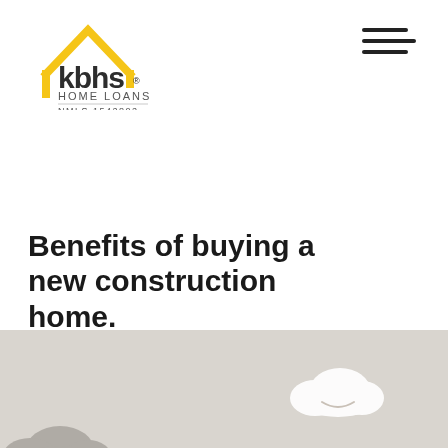[Figure (logo): KBHS Home Loans logo with yellow house outline and dark text, NMLS 1542802]
[Figure (other): Hamburger menu icon with three horizontal lines]
Benefits of buying a new construction home.
[Figure (illustration): Gray background section with cartoon-style cloud illustrations]